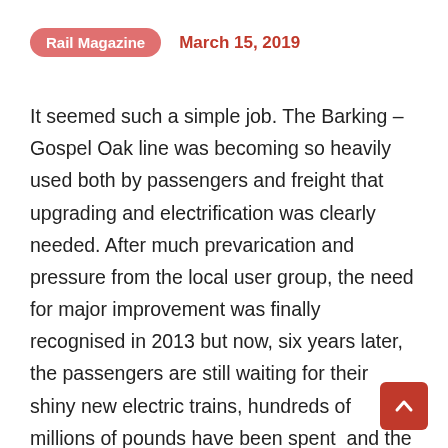Rail Magazine   March 15, 2019
It seemed such a simple job. The Barking – Gospel Oak line was becoming so heavily used both by passengers and freight that upgrading and electrification was clearly needed. After much prevarication and pressure from the local user group, the need for major improvement was finally recognised in 2013 but now, six years later, the passengers are still waiting for their shiny new electric trains, hundreds of millions of pounds have been spent  and the scheme has become an object lesson in how not to do things. Indeed, the saga expose flaws in the current system and, perhaps more